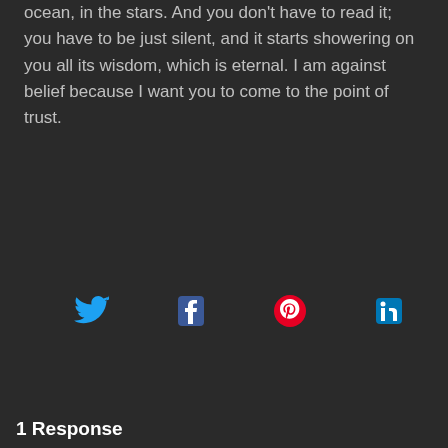ocean, in the stars. And you don't have to read it; you have to be just silent, and it starts showering on you all its wisdom, which is eternal. I am against belief because I want you to come to the point of trust.
[Figure (screenshot): Social media share buttons: Twitter, Facebook, Pinterest, LinkedIn with plus icons]
Osho Quotes on Change
Osho Quotes on Positive Thinking
1 Response